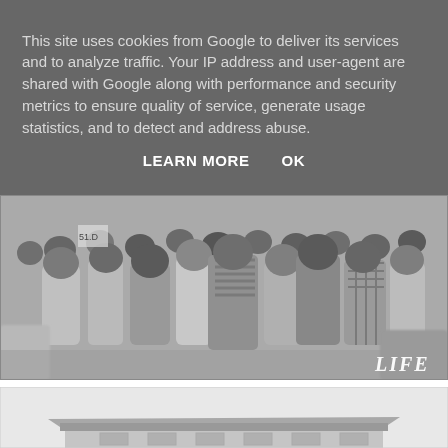This site uses cookies from Google to deliver its services and to analyze traffic. Your IP address and user-agent are shared with Google along with performance and security metrics to ensure quality of service, generate usage statistics, and to detect and address abuse.
LEARN MORE   OK
[Figure (photo): Black and white photograph of a large crowd of people viewed from behind, with a LIFE magazine watermark in the bottom right corner.]
[Figure (photo): Black and white photograph showing the roof and upper portion of a brick building against a light sky.]